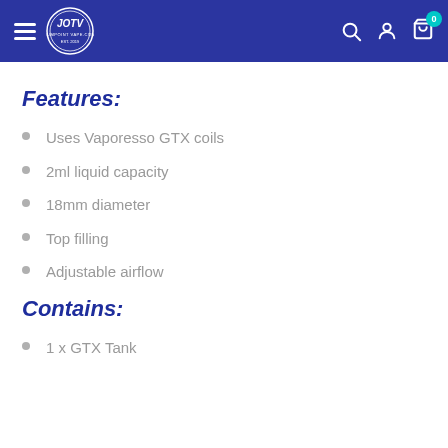JOTV jumpoint vape.com navigation header with hamburger menu, logo, search, account, and cart icons
Features:
Uses Vaporesso GTX coils
2ml liquid capacity
18mm diameter
Top filling
Adjustable airflow
Contains:
1 x GTX Tank